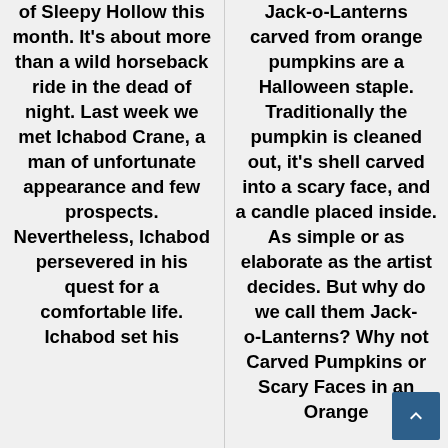of Sleepy Hollow this month. It's about more than a wild horseback ride in the dead of night. Last week we met Ichabod Crane, a man of unfortunate appearance and few prospects. Nevertheless, Ichabod persevered in his quest for a comfortable life. Ichabod set his
Jack-o'-Lanterns carved from orange pumpkins are a Halloween staple. Traditionally the pumpkin is cleaned out, it's shell carved into a scary face, and a candle placed inside. As simple or as elaborate as the artist decides. But why do we call them Jack-o'-Lanterns? Why not Carved Pumpkins or Scary Faces in an Orange